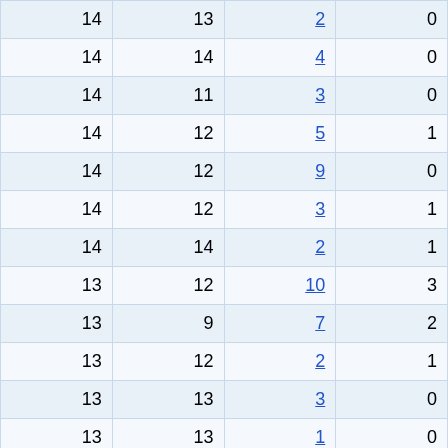| 14 | 13 | 2 | 0 |
| 14 | 14 | 4 | 0 |
| 14 | 11 | 3 | 0 |
| 14 | 12 | 5 | 1 |
| 14 | 12 | 9 | 0 |
| 14 | 12 | 3 | 1 |
| 14 | 14 | 2 | 1 |
| 13 | 12 | 10 | 3 |
| 13 | 9 | 7 | 2 |
| 13 | 12 | 2 | 1 |
| 13 | 13 | 3 | 0 |
| 13 | 13 | 1 | 0 |
| 12 | 11 | 4 | 1 |
| 12 | 12 | 3 | 1 |
| 12 | 12 | 4 | 3 |